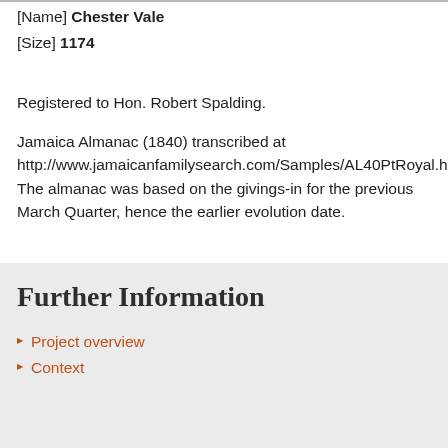[Name] Chester Vale
[Size] 1174
Registered to Hon. Robert Spalding.
Jamaica Almanac (1840) transcribed at http://www.jamaicanfamilysearch.com/Samples/AL40PtRoyal.htm. The almanac was based on the givings-in for the previous March Quarter, hence the earlier evolution date.
Further Information
Project overview
Context